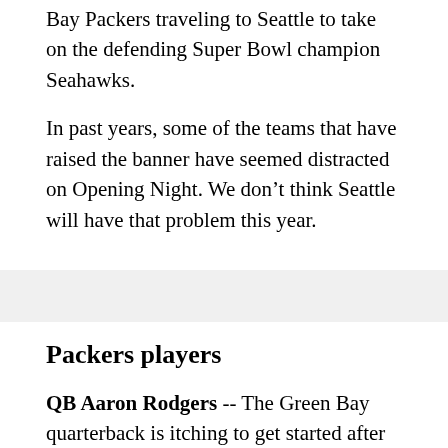The season kicks off Thursday Night with the Green Bay Packers traveling to Seattle to take on the defending Super Bowl champion Seahawks.
In past years, some of the teams that have raised the banner have seemed distracted on Opening Night. We don't think Seattle will have that problem this year.
Packers players
QB Aaron Rodgers -- The Green Bay quarterback is itching to get started after last season's injury-filled season. Rodgers missed seven full games last season with a broken collarbone, and while he returned at the end of the year, he was not completely healthy.